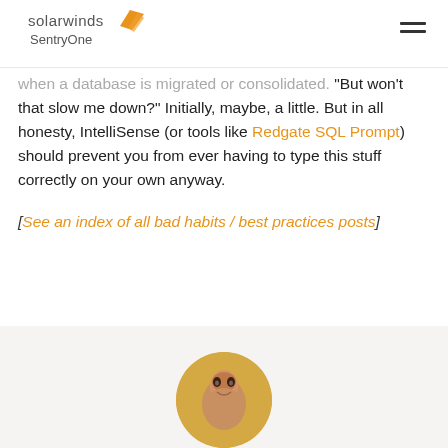solarwinds SentryOne
when a database is migrated or consolidated. "But won't that slow me down?" Initially, maybe, a little. But in all honesty, IntelliSense (or tools like Redgate SQL Prompt) should prevent you from ever having to type this stuff correctly on your own anyway.
[See an index of all bad habits / best practices posts]
[Figure (photo): Author profile photo in circular crop, partially visible at bottom of page]